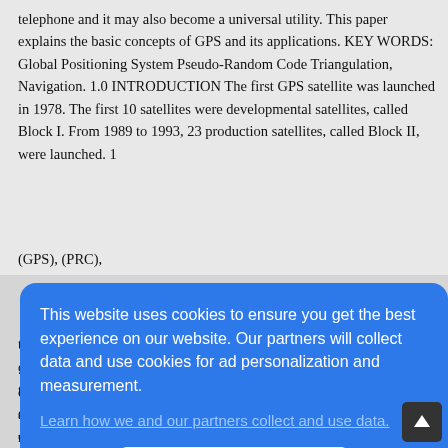telephone and it may also become a universal utility. This paper explains the basic concepts of GPS and its applications. KEY WORDS: Global Positioning System Pseudo-Random Code Triangulation, Navigation.
1.0 INTRODUCTION The first GPS satellite was launched in 1978. The first 10 satellites were developmental satellites, called Block I. From 1989 to 1993, 23 production satellites, called Block II, were launched.
1
(GPS), (PRC),
[Figure (screenshot): Cookie consent dialog overlay on a blue background. Text reads: 'This website uses cookies to ensure you get the best experience on our website. Our partners will collect data and use cookies for ad personalization and measurement.' with a link 'Learn how we and our partners collect and use data.' and an OK button.]
...basis ...er ...ure ...the ...ation ...ction ...ugh
...ng signals), and an interaction with the operator through a control and display unit. To perform the above functions GPS contains mainly